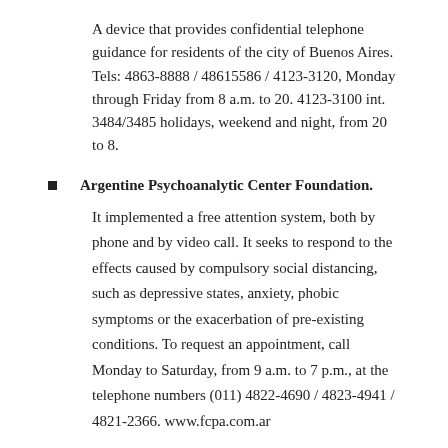A device that provides confidential telephone guidance for residents of the city of Buenos Aires. Tels: 4863-8888 / 48615586 / 4123-3120, Monday through Friday from 8 a.m. to 20. 4123-3100 int. 3484/3485 holidays, weekend and night, from 20 to 8.
Argentine Psychoanalytic Center Foundation.
It implemented a free attention system, both by phone and by video call. It seeks to respond to the effects caused by compulsory social distancing, such as depressive states, anxiety, phobic symptoms or the exacerbation of pre-existing conditions. To request an appointment, call Monday to Saturday, from 9 a.m. to 7 p.m., at the telephone numbers (011) 4822-4690 / 4823-4941 / 4821-2366. www.fcpa.com.ar
Kennedy University.